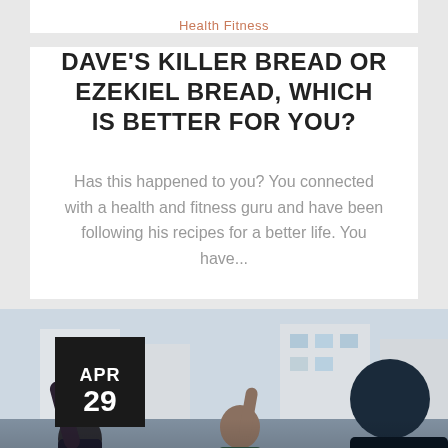Health Fitness
DAVE'S KILLER BREAD OR EZEKIEL BREAD, WHICH IS BETTER FOR YOU?
Has this happened to you? You connected with a health and fitness guru and have been following his recipes for a better life. You have...
[Figure (photo): Outdoor crowd scene with people raising hands, urban buildings in background. Date badge overlay showing APR 29.]